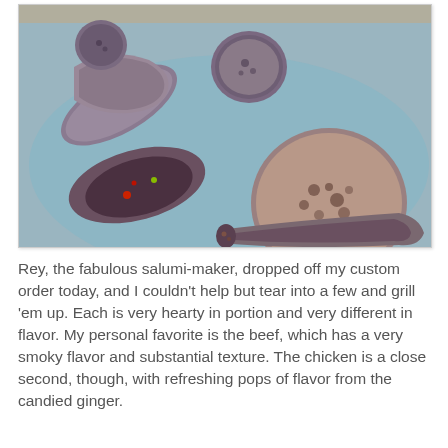[Figure (photo): Photo of several sliced sausages/salumi on a blue plate, showing cross-sections of different varieties including beef and chicken, with visible ingredients like red pepper and candied ginger]
Rey, the fabulous salumi-maker, dropped off my custom order today, and I couldn't help but tear into a few and grill 'em up. Each is very hearty in portion and very different in flavor. My personal favorite is the beef, which has a very smoky flavor and substantial texture. The chicken is a close second, though, with refreshing pops of flavor from the candied ginger.